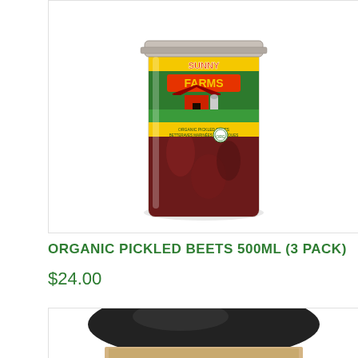[Figure (photo): A glass jar of Sunny Farms Organic Pickled Beets 500mL, showing a colorful green and yellow label with a red barn, sitting on a white background. The jar is tall and cylindrical with dark red beet contents visible at the bottom.]
ORGANIC PICKLED BEETS 500ML (3 PACK)
$24.00
[Figure (photo): A glass jar with a black metal lid, partially cropped, containing what appears to be a light golden/amber colored product. Only the top portion of the jar is visible.]